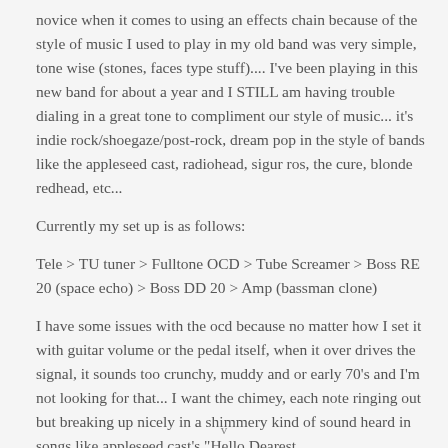novice when it comes to using an effects chain because of the style of music I used to play in my old band was very simple, tone wise (stones, faces type stuff).... I've been playing in this new band for about a year and I STILL am having trouble dialing in a great tone to compliment our style of music... it's indie rock/shoegaze/post-rock, dream pop in the style of bands like the appleseed cast, radiohead, sigur ros, the cure, blonde redhead, etc...
Currently my set up is as follows:
Tele > TU tuner > Fulltone OCD > Tube Screamer > Boss RE 20 (space echo) > Boss DD 20 > Amp (bassman clone)
I have some issues with the ocd because no matter how I set it with guitar volume or the pedal itself, when it over drives the signal, it sounds too crunchy, muddy and or early 70's and I'm not looking for that... I want the chimey, each note ringing out but breaking up nicely in a shimmery kind of sound heard in songs like appleseed cast's "Hello Dearest
v